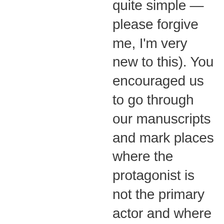quite simple — please forgive me, I'm very new to this). You encouraged us to go through our manuscripts and mark places where the protagonist is not the primary actor and where she is merely observing. What about those instances when a character is reacting to an external